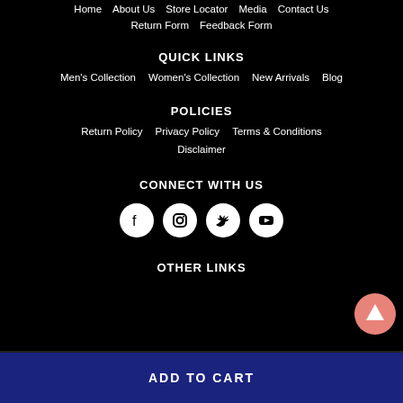Home   About Us   Store Locator   Media   Contact Us
Return Form   Feedback Form
QUICK LINKS
Men's Collection   Women's Collection   New Arrivals   Blog
POLICIES
Return Policy   Privacy Policy   Terms & Conditions
Disclaimer
CONNECT WITH US
[Figure (infographic): Social media icons: Facebook, Instagram, Twitter, YouTube — white circles on black background]
OTHER LINKS
ADD TO CART